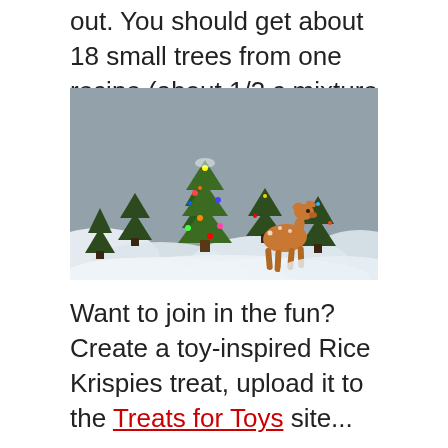out. You should get about 18 small trees from one recipe (about 1/3 c mixture for each tree).
[Figure (photo): Photo of green Rice Krispie treat Christmas trees decorated with colorful candy dots, arranged in a snowy winter scene with a small toy deer figurine in the foreground.]
Want to join in the fun? Create a toy-inspired Rice Krispies treat, upload it to the Treats for Toys site...